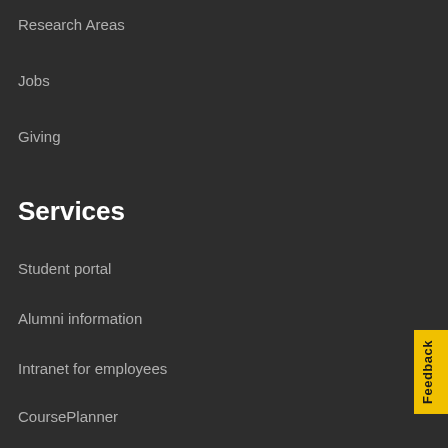Research Areas
Jobs
Giving
Services
Student portal
Alumni information
Intranet for employees
CoursePlanner
MyTimetable
About UU
Contact